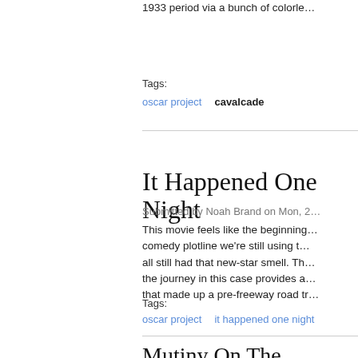1933 period via a bunch of colorle…
Tags:
oscar project   cavalcade
It Happened One Night
Submitted by Noah Brand on Mon, 2…
This movie feels like the beginning… comedy plotline we're still using t… all still had that new-star smell. Th… the journey in this case provides a… that made up a pre-freeway road tr…
Tags:
oscar project   it happened one night
Mutiny On The Bounty…